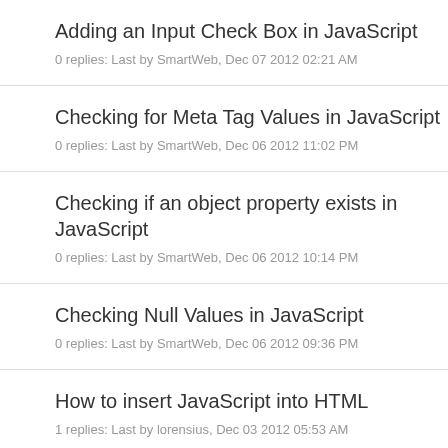Adding an Input Check Box in JavaScript
0 replies: Last by SmartWeb, Dec 07 2012 02:21 AM
Checking for Meta Tag Values in JavaScript
0 replies: Last by SmartWeb, Dec 06 2012 11:02 PM
Checking if an object property exists in JavaScript
0 replies: Last by SmartWeb, Dec 06 2012 10:14 PM
Checking Null Values in JavaScript
0 replies: Last by SmartWeb, Dec 06 2012 09:36 PM
How to insert JavaScript into HTML
1 replies: Last by lorensius, Dec 03 2012 05:53 AM